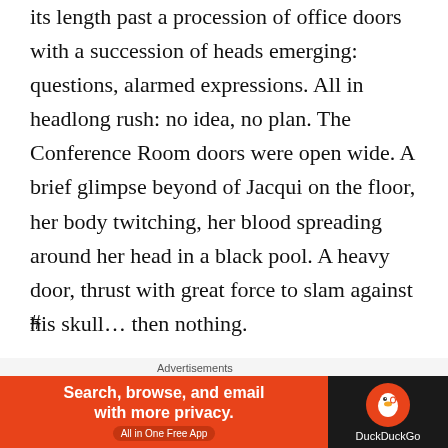its length past a procession of office doors with a succession of heads emerging: questions, alarmed expressions.  All in headlong rush: no idea, no plan.  The Conference Room doors were open wide.  A brief glimpse beyond of Jacqui on the floor, her body twitching, her blood spreading around her head in a black pool.  A heavy door, thrust with great force to slam against his skull…  then nothing.
#
Out of greyness.  “Mr Hallcroft’s conscious, I think…”
[Figure (other): DuckDuckGo advertisement banner: orange left panel with text 'Search, browse, and email with more privacy. All in One Free App' and dark right panel with DuckDuckGo duck logo and brand name.]